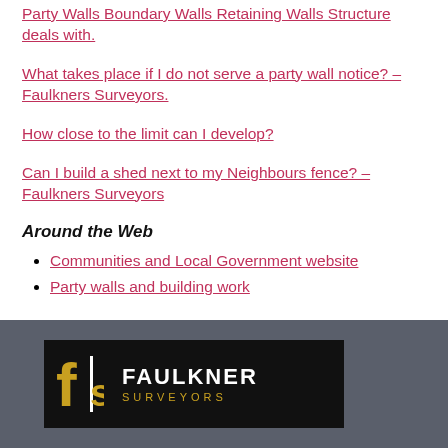Party Walls Boundary Walls Retaining Walls Structure deals with.
What takes place if I do not serve a party wall notice? – Faulkners Surveyors.
How close to the limit can I develop?
Can I build a shed next to my Neighbours fence? – Faulkners Surveyors
Around the Web
Communities and Local Government website
Party walls and building work
[Figure (logo): Faulkner Surveyors logo: black background with yellow FS icon and white FAULKNER text with gold SURVEYORS subtitle]